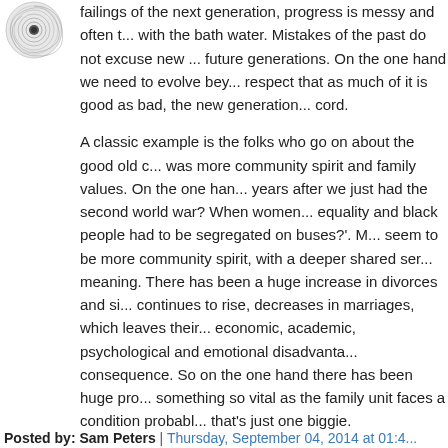[Figure (logo): Circular decorative avatar or logo icon with spiral pattern]
failings of the next generation, progress is messy and often t... with the bath water. Mistakes of the past do not excuse new ... future generations. On the one hand we need to evolve bey... respect that as much of it is good as bad, the new generation... cord.
A classic example is the folks who go on about the good old c... was more community spirit and family values. On the one han... years after we just had the second world war? When women... equality and black people had to be segregated on buses?'. M... seem to be more community spirit, with a deeper shared ser... meaning. There has been a huge increase in divorces and si... continues to rise, decreases in marriages, which leaves their... economic, academic, psychological and emotional disadvanta... consequence. So on the one hand there has been huge pro... something so vital as the family unit faces a condition probabl... that's just one biggie.
That said it is a great irony that while we seem to be as a gen... whole of the world's ills and hence so much seems bad, we a... progressively there has been less violence as we've progres... speaking reduced by the decade, there are no longer any hu... world wars or cold wars, which in of itself is pretty enormous... game is surely a step up from beheadings, witchhunts, collos...
Posted by: Sam Peters | Thursday, September 04, 2014 at 01:4...